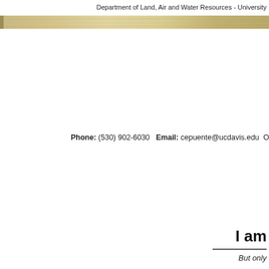Department of Land, Air and Water Resources - University
[Figure (photo): Narrow horizontal banner photo showing a sandy or rocky landscape, partially cropped at top of page]
Phone: (530) 902-6030   Email: cepuente@ucdavis.edu   O
I am
But only